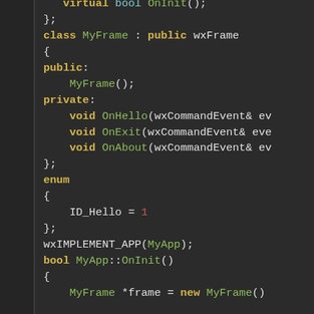[Figure (screenshot): Code editor screenshot showing C++ class and enum definitions using wxWidgets framework. Dark theme editor with syntax highlighting. Shows virtual bool OnInit(), class MyFrame : public wxFrame with public/private members, enum with ID_Hello = 1, wxIMPLEMENT_APP(MyApp), bool MyApp::OnInit() and MyFrame *frame = new MyFrame().]